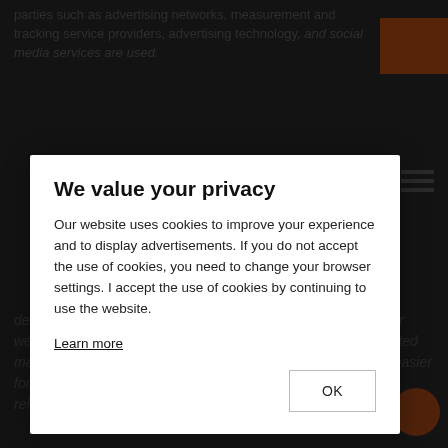parties such as advertising networks, measurement and tracking service providers, advertising technology, and social media services are used.
[Figure (screenshot): Cookie consent modal dialog overlaying a website page. The modal has a white background with title 'We value your privacy', body text explaining cookie use, a 'Learn more' link, and an 'OK' button. Behind the modal the website background shows dimmed italic text about cookies and devices/web browsers, along with a logo and navigation elements.]
We value your privacy
Our website uses cookies to improve your experience and to display advertisements. If you do not accept the use of cookies, you need to change your browser settings. I accept the use of cookies by continuing to use the website.
Learn more
OK